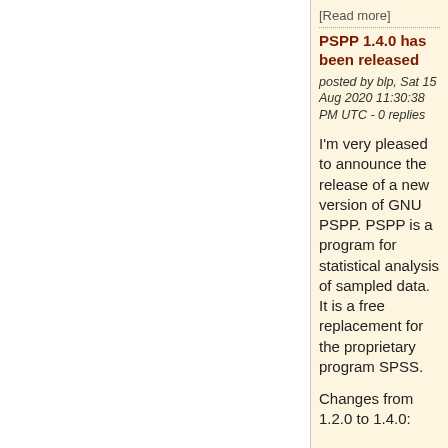[Read more]
PSPP 1.4.0 has been released
posted by blp, Sat 15 Aug 2020 11:30:38 PM UTC - 0 replies
I'm very pleased to announce the release of a new version of GNU PSPP.  PSPP is a program for statistical analysis of sampled data.  It is a free replacement for the proprietary program SPSS.
Changes from 1.2.0 to 1.4.0: